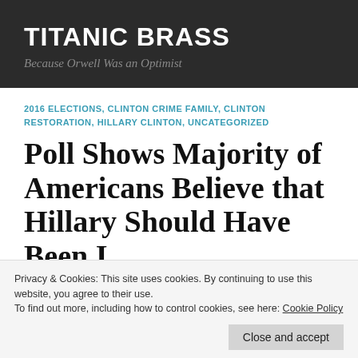TITANIC BRASS
Because Orwell Was an Optimist
2016 ELECTIONS, CLINTON CRIME FAMILY, CLINTON RESTORATION, HILLARY CLINTON, UNCATEGORIZED
Poll Shows Majority of Americans Believe that Hillary Should Have Been Indicted
Privacy & Cookies: This site uses cookies. By continuing to use this website, you agree to their use.
To find out more, including how to control cookies, see here: Cookie Policy
Close and accept
[Figure (photo): Partial view of a photo at the bottom of the page showing a person, with warm yellow/gold tones]